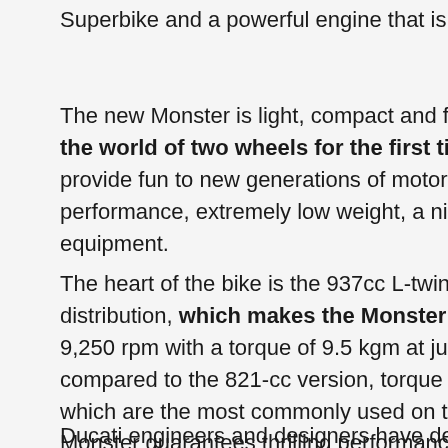Superbike and a powerful engine that is at the same time...
The new Monster is light, compact and fun. An idea... the world of two wheels for the first time and fo... provide fun to new generations of motorcyclists tha... performance, extremely low weight, a nimble and in... equipment.
The heart of the bike is the 937cc L-twin Testastretta... distribution, which makes the Monster sporty and... 9,250 rpm with a torque of 9.5 kgm at just 6,500 rpm... compared to the 821-cc version, torque has improv... which are the most commonly used on the road and... Monster guarantees thrilling performance and riding... and the Ducati Quick Shift Up/Down fitted as sta...
Ducati engineers and designers have devoted grea...